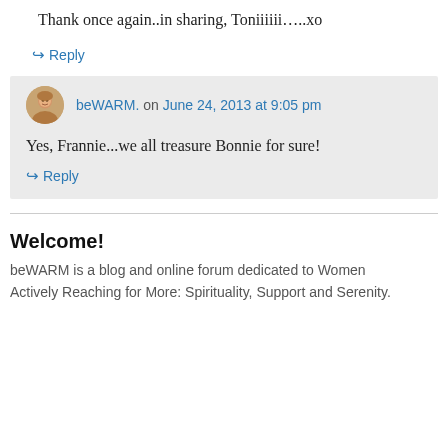Thank once again..in sharing, Toniiiiii…..xo
↪ Reply
beWARM. on June 24, 2013 at 9:05 pm
Yes, Frannie...we all treasure Bonnie for sure!
↪ Reply
Welcome!
beWARM is a blog and online forum dedicated to Women Actively Reaching for More: Spirituality, Support and Serenity.